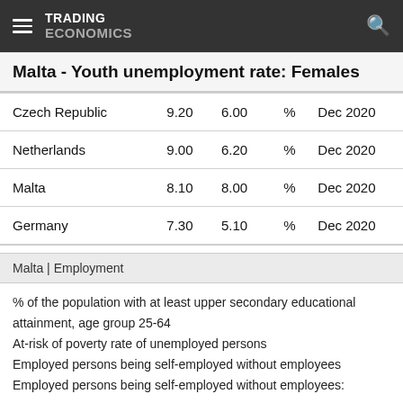TRADING ECONOMICS
Malta - Youth unemployment rate: Females
| Czech Republic | 9.20 | 6.00 | % | Dec 2020 |
| Netherlands | 9.00 | 6.20 | % | Dec 2020 |
| Malta | 8.10 | 8.00 | % | Dec 2020 |
| Germany | 7.30 | 5.10 | % | Dec 2020 |
Malta | Employment
% of the population with at least upper secondary educational attainment, age group 25-64
At-risk of poverty rate of unemployed persons
Employed persons being self-employed without employees
Employed persons being self-employed without employees: